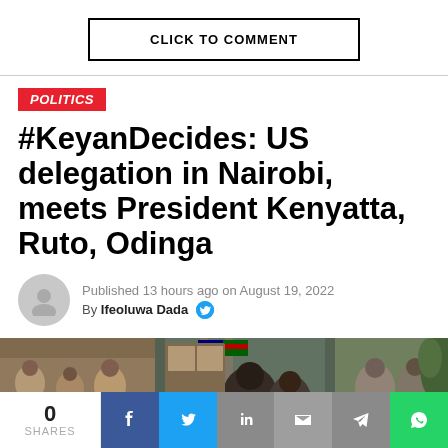CLICK TO COMMENT
POLITICS
#KeyanDecides: US delegation in Nairobi, meets President Kenyatta, Ruto, Odinga
Published 13 hours ago on August 19, 2022
By Ifeoluwa Dada
[Figure (photo): Group photo of people at a formal meeting, flags in background]
0 SHARES